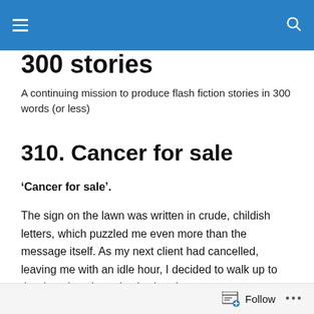300 stories — site navigation header
300 stories
A continuing mission to produce flash fiction stories in 300 words (or less)
310. Cancer for sale
‘Cancer for sale’.
The sign on the lawn was written in crude, childish letters, which puzzled me even more than the message itself. As my next client had cancelled, leaving me with an idle hour, I decided to walk up to the door, knock, and ask what the
Follow